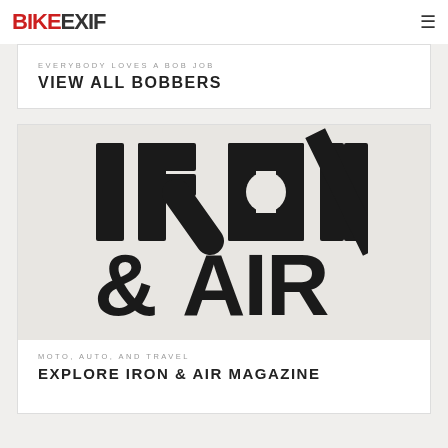BIKEEXIF
EVERYBODY LOVES A BOB JOB
VIEW ALL BOBBERS
[Figure (logo): Iron & Air magazine logo: large bold black text 'IRON' on top and '& AIR' below on a light gray background]
MOTO, AUTO, AND TRAVEL
EXPLORE IRON & AIR MAGAZINE